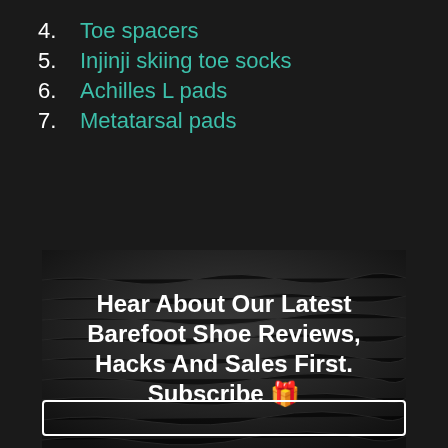4. Toe spacers
5. Injinji skiing toe socks
6. Achilles L pads
7. Metatarsal pads
[Figure (photo): Dark water/texture background with overlaid bold white text reading: Hear About Our Latest Barefoot Shoe Reviews, Hacks And Sales First. Subscribe 🎁]
Hear About Our Latest Barefoot Shoe Reviews, Hacks And Sales First. Subscribe 🎁